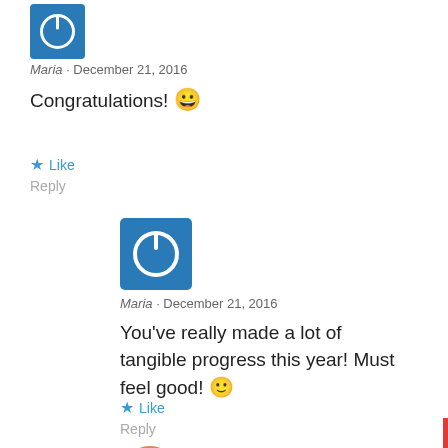[Figure (logo): Blue square power button icon (avatar)]
Maria · December 21, 2016
Congratulations! 😀
★ Like
Reply
[Figure (logo): Blue square power button icon (avatar), larger]
Maria · December 21, 2016
You've really made a lot of tangible progress this year! Must feel good! 🙂
★ Like
Reply
[Figure (logo): Partial orange avatar icon at bottom]